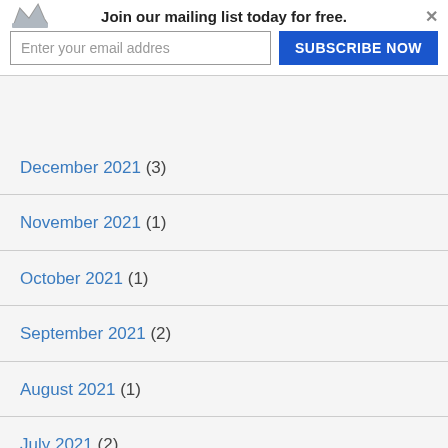Join our mailing list today for free. Enter your email addres SUBSCRIBE NOW
December 2021 (3)
November 2021 (1)
October 2021 (1)
September 2021 (2)
August 2021 (1)
July 2021 (2)
June 2021 (2)
May 2021 (1)
April 2021 (1)
March 2021 (1)